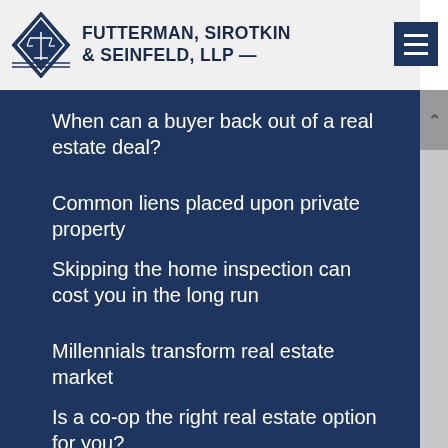FUTTERMAN, SIROTKIN & SEINFELD, LLP
When can a buyer back out of a real estate deal?
Common liens placed upon private property
Skipping the home inspection can cost you in the long run
Millennials transform real estate market
Is a co-op the right real estate option for you?